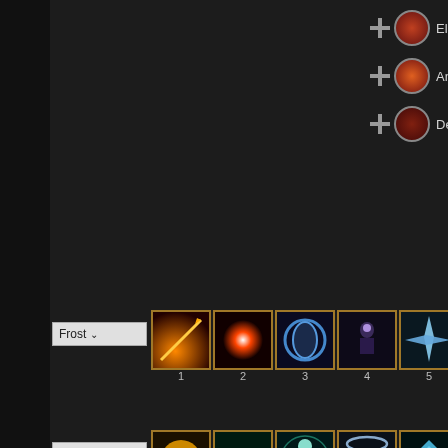Elemental Force
Ancient Knowledge
Destruction Exp
Frost
1 2 3 4 5
Restoration S
1 2 3 4 5
Ultimate
* Required lvl 12 in Winter's Embrace
* Required lvl 5 in Vampire
Active
* Required lvl 4 in Destruction Staff
* Required lvl 2 in Mages Guild
* Required lvl 4 in Winter's Embrace
* Required lvl 20 in Restoration Staff